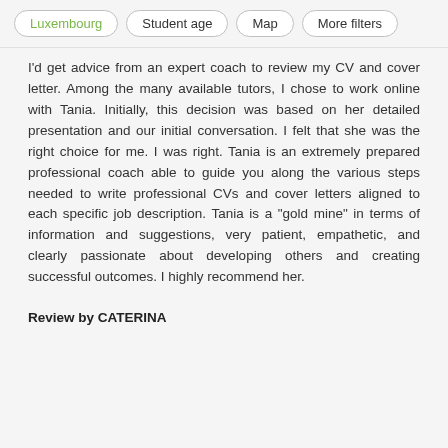Luxembourg | Student age | Map | More filters
I'd get advice from an expert coach to review my CV and cover letter. Among the many available tutors, I chose to work online with Tania. Initially, this decision was based on her detailed presentation and our initial conversation. I felt that she was the right choice for me. I was right. Tania is an extremely prepared professional coach able to guide you along the various steps needed to write professional CVs and cover letters aligned to each specific job description. Tania is a "gold mine" in terms of information and suggestions, very patient, empathetic, and clearly passionate about developing others and creating successful outcomes. I highly recommend her.
Review by CATERINA